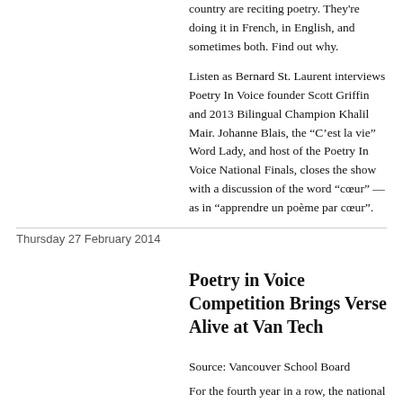country are reciting poetry. They're doing it in French, in English, and sometimes both. Find out why.

Listen as Bernard St. Laurent interviews Poetry In Voice founder Scott Griffin and 2013 Bilingual Champion Khalil Mair. Johanne Blais, the “C’est la vie” Word Lady, and host of the Poetry In Voice National Finals, closes the show with a discussion of the word “cœur” — as in “apprendre un poème par cœur”.
Thursday 27 February 2014
Poetry in Voice Competition Brings Verse Alive at Van Tech
Source: Vancouver School Board
For the fourth year in a row, the national poetry competition is engaging students from over 360